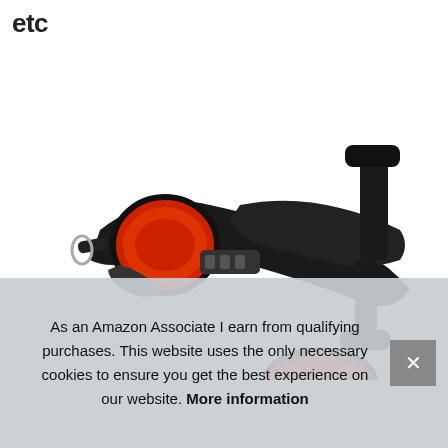etc
[Figure (photo): A black and red mini exercise bike pedal machine photographed against a white background. The device has red padded foot cups with black straps and black metal frame with pedal arms extending in opposite directions.]
As an Amazon Associate I earn from qualifying purchases. This website uses the only necessary cookies to ensure you get the best experience on our website. More information